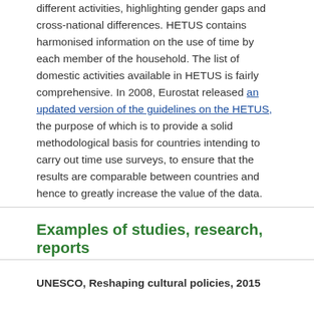different activities, highlighting gender gaps and cross-national differences. HETUS contains harmonised information on the use of time by each member of the household. The list of domestic activities available in HETUS is fairly comprehensive. In 2008, Eurostat released an updated version of the guidelines on the HETUS, the purpose of which is to provide a solid methodological basis for countries intending to carry out time use surveys, to ensure that the results are comparable between countries and hence to greatly increase the value of the data.
Examples of studies, research, reports
UNESCO, Reshaping cultural policies, 2015